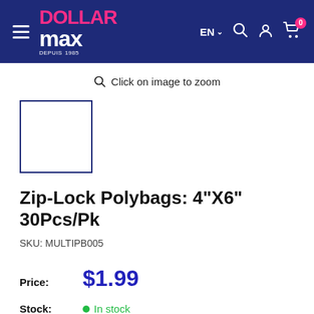[Figure (logo): Dollar Max logo with pink 'DOLLAR' and white 'max' text on dark blue header background, with hamburger menu, EN language selector, search icon, account icon, and cart icon with badge showing 0]
Click on image to zoom
[Figure (other): Product thumbnail placeholder box with dark blue border]
Zip-Lock Polybags: 4"X6" 30Pcs/Pk
SKU: MULTIPB005
Price: $1.99
Stock: In stock